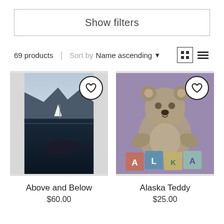Show filters
69 products | Sort by Name ascending
[Figure (illustration): Product image of 'Above and Below' print: split view with sailboat on calm water above and whale silhouette underwater below, mountain scenery]
Above and Below
$60.00
[Figure (illustration): Product image of 'Alaska Teddy' print: sketch-style drawing of a teddy bear sitting behind letter blocks spelling ALASKA on a purple background]
Alaska Teddy
$25.00